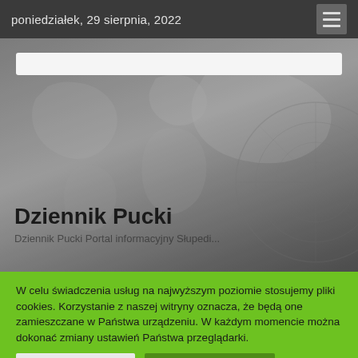poniedziałek, 29 sierpnia, 2022
[Figure (screenshot): Hero banner with world map background and Dziennik Pucki newspaper title]
Dziennik Pucki
W celu świadczenia usług na najwyższym poziomie stosujemy pliki cookies. Korzystanie z naszej witryny oznacza, że będą one zamieszczane w Państwa urządzeniu. W każdym momencie można dokonać zmiany ustawień Państwa przeglądarki.
Cookie - ustawienia
Zaakceptuj wszystkie